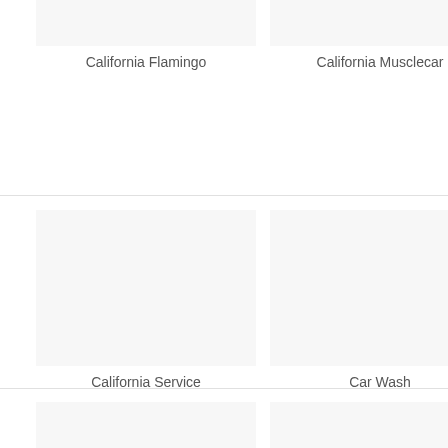[Figure (illustration): Placeholder image for California Flamingo product/item]
California Flamingo
[Figure (illustration): Placeholder image for California Musclecar product/item]
California Musclecar
[Figure (illustration): Placeholder image for California Service product/item]
California Service
[Figure (illustration): Placeholder image for Car Wash product/item]
Car Wash
[Figure (illustration): Placeholder image partially visible at bottom left]
[Figure (illustration): Placeholder image partially visible at bottom right]